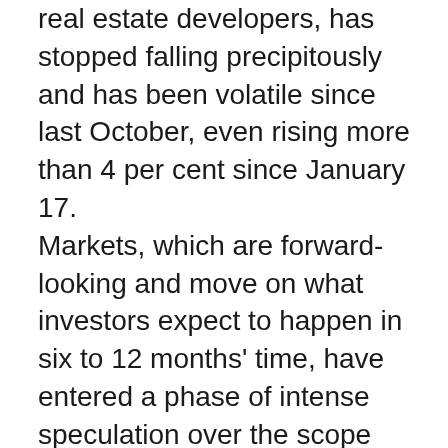real estate developers, has stopped falling precipitously and has been volatile since last October, even rising more than 4 per cent since January 17. Markets, which are forward-looking and move on what investors expect to happen in six to 12 months' time, have entered a phase of intense speculation over the scope for a policy-induced rebound in property assets. There are good reasons to want to correctly anticipate a recovery in China's real estate sector. Successfully calling the bottom of the market could prove to be one of the most lucrative trades this year. A sustained rally in property assets would help